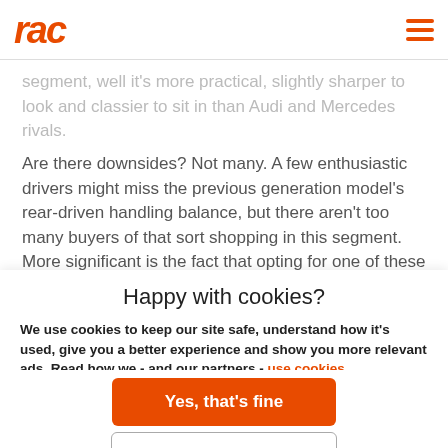RAC
segment, well it's more practical, slightly sharper to look and classier to sit in than Audi and Mercedes rivals.
Are there downsides? Not many. A few enthusiastic drivers might miss the previous generation model's rear-driven handling balance, but there aren't too many buyers of that sort shopping in this segment. More significant is the fact that opting for one of these now
Happy with cookies?
We use cookies to keep our site safe, understand how it's used, give you a better experience and show you more relevant ads. Read how we - and our partners - use cookies.
Yes, that's fine
No, manage cookies